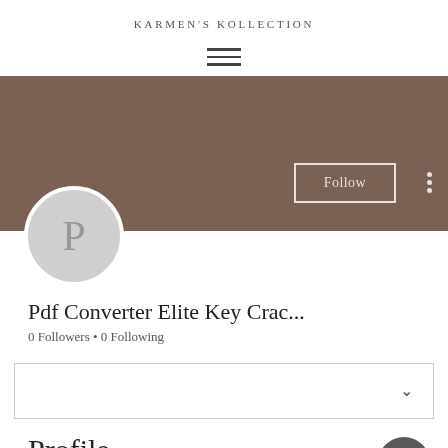KARMEN'S KOLLECTION
[Figure (other): Hamburger menu icon with three horizontal lines]
[Figure (other): Profile banner in brownish-grey color with a Follow button and three-dot menu. Below the banner is a circular avatar with the letter P.]
Pdf Converter Elite Key Crac...
0 Followers • 0 Following
[Figure (other): Dropdown selector box with a chevron arrow on the right]
Profile
Join the M...